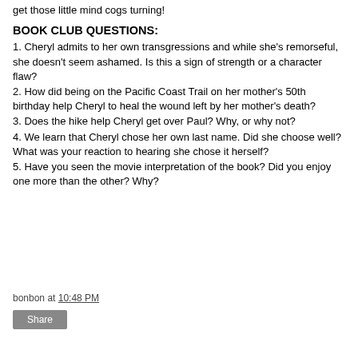get those little mind cogs turning!
BOOK CLUB QUESTIONS:
1. Cheryl admits to her own transgressions and while she's remorseful, she doesn't seem ashamed. Is this a sign of strength or a character flaw?
2. How did being on the Pacific Coast Trail on her mother's 50th birthday help Cheryl to heal the wound left by her mother's death?
3. Does the hike help Cheryl get over Paul? Why, or why not?
4. We learn that Cheryl chose her own last name. Did she choose well? What was your reaction to hearing she chose it herself?
5. Have you seen the movie interpretation of the book? Did you enjoy one more than the other? Why?
bonbon at 10:48 PM